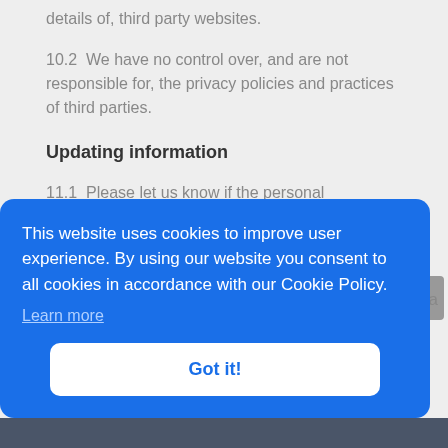details of, third party websites.
10.2  We have no control over, and are not responsible for, the privacy policies and practices of third parties.
Updating information
11.1  Please let us know if the personal information that we hold about you needs to
[Figure (screenshot): Cookie consent banner overlay with blue background. Text reads: 'This website uses cookies to improve user experience. By using our website you consent to all cookies in accordance with our Cookie Policy.' with a 'Learn more' link and a 'Got it!' button.]